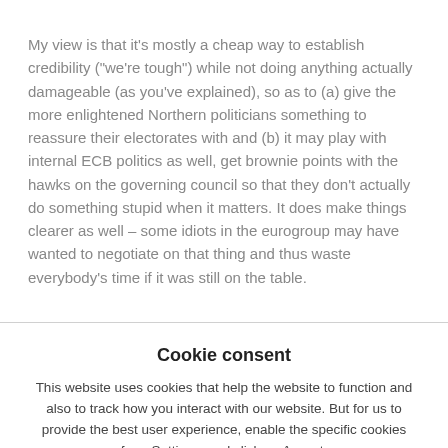My view is that it's mostly a cheap way to establish credibility ("we're tough") while not doing anything actually damageable (as you've explained), so as to (a) give the more enlightened Northern politicians something to reassure their electorates with and (b) it may play with internal ECB politics as well, get brownie points with the hawks on the governing council so that they don't actually do something stupid when it matters. It does make things clearer as well – some idiots in the eurogroup may have wanted to negotiate on that thing and thus waste everybody's time if it was still on the table.
Cookie consent
This website uses cookies that help the website to function and also to track how you interact with our website. But for us to provide the best user experience, enable the specific cookies from Settings, and click on Accept.